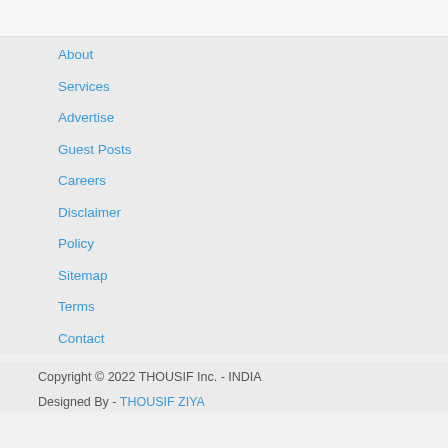About
Services
Advertise
Guest Posts
Careers
Disclaimer
Policy
Sitemap
Terms
Contact
Copyright © 2022 THOUSIF Inc. - INDIA
Designed By - THOUSIF ZIYA